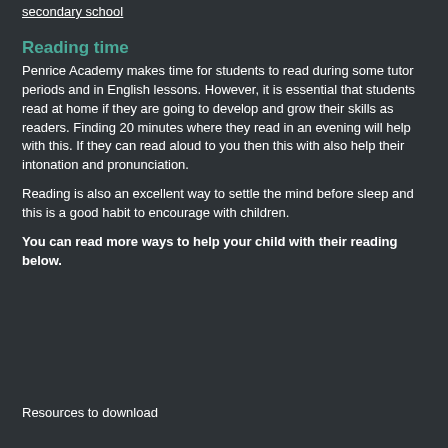secondary school
Reading time
Penrice Academy makes time for students to read during some tutor periods and in English lessons. However, it is essential that students read at home if they are going to develop and grow their skills as readers. Finding 20 minutes where they read in an evening will help with this. If they can read aloud to you then this with also help their intonation and pronunciation.
Reading is also an excellent way to settle the mind before sleep and this is a good habit to encourage with children.
You can read more ways to help your child with their reading below.
Resources to download